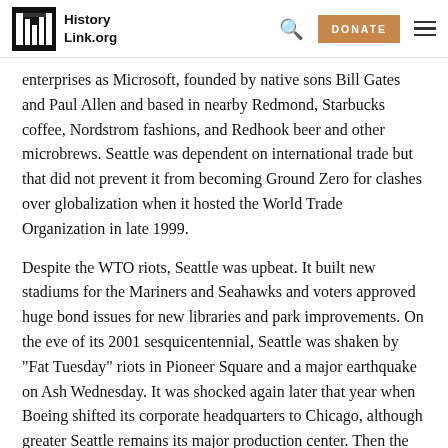HistoryLink.org
enterprises as Microsoft, founded by native sons Bill Gates and Paul Allen and based in nearby Redmond, Starbucks coffee, Nordstrom fashions, and Redhook beer and other microbrews. Seattle was dependent on international trade but that did not prevent it from becoming Ground Zero for clashes over globalization when it hosted the World Trade Organization in late 1999.
Despite the WTO riots, Seattle was upbeat. It built new stadiums for the Mariners and Seahawks and voters approved huge bond issues for new libraries and park improvements. On the eve of its 2001 sesquicentennial, Seattle was shaken by "Fat Tuesday" riots in Pioneer Square and a major earthquake on Ash Wednesday. It was shocked again later that year when Boeing shifted its corporate headquarters to Chicago, although greater Seattle remains its major production center. Then the "dot-com bust" pulled the plug on scores of Internet and related software companies.
Seattle rebounded strongly and is now formulating ambitious